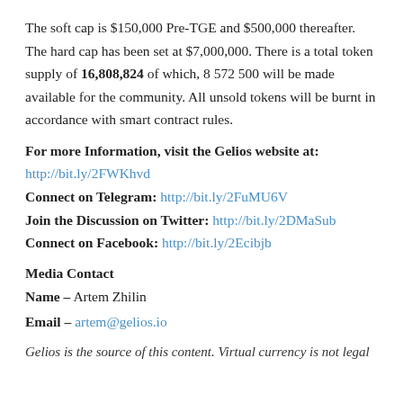The soft cap is $150,000 Pre-TGE and $500,000 thereafter. The hard cap has been set at $7,000,000. There is a total token supply of 16,808,824 of which, 8 572 500 will be made available for the community. All unsold tokens will be burnt in accordance with smart contract rules.
For more Information, visit the Gelios website at:
http://bit.ly/2FWKhvd
Connect on Telegram: http://bit.ly/2FuMU6V
Join the Discussion on Twitter: http://bit.ly/2DMaSub
Connect on Facebook: http://bit.ly/2Ecibjb
Media Contact
Name – Artem Zhilin
Email – artem@gelios.io
Gelios is the source of this content. Virtual currency is not legal